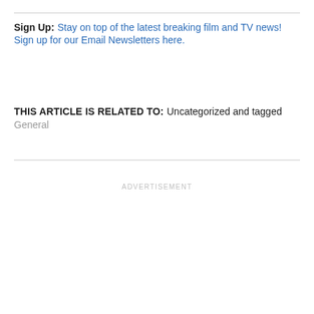Sign Up: Stay on top of the latest breaking film and TV news! Sign up for our Email Newsletters here.
THIS ARTICLE IS RELATED TO: Uncategorized and tagged General
ADVERTISEMENT